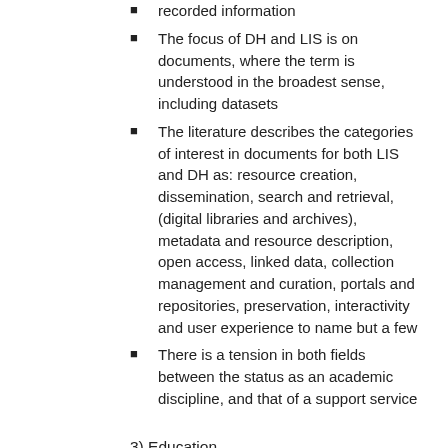recorded information
The focus of DH and LIS is on documents, where the term is understood in the broadest sense, including datasets
The literature describes the categories of interest in documents for both LIS and DH as: resource creation, dissemination, search and retrieval, (digital libraries and archives), metadata and resource description, open access, linked data, collection management and curation, portals and repositories, preservation, interactivity and user experience to name but a few
There is a tension in both fields between the status as an academic discipline, and that of a support service
3) Education
Educational programmes in LIS are increasingly including DH material and vice versa. This is reflected in the requirements for skills and competencies from LIS accrediting and professional